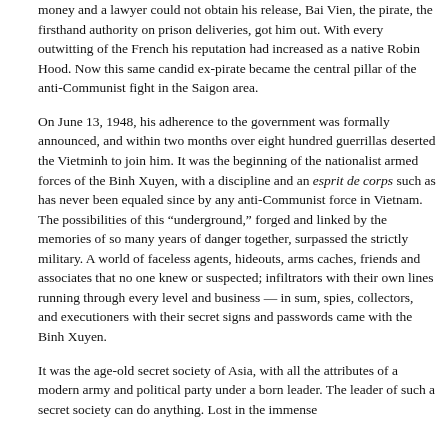money and a lawyer could not obtain his release, Bai Vien, the pirate, the firsthand authority on prison deliveries, got him out. With every outwitting of the French his reputation had increased as a native Robin Hood. Now this same candid ex-pirate became the central pillar of the anti-Communist fight in the Saigon area.
On June 13, 1948, his adherence to the government was formally announced, and within two months over eight hundred guerrillas deserted the Vietminh to join him. It was the beginning of the nationalist armed forces of the Binh Xuyen, with a discipline and an esprit de corps such as has never been equaled since by any anti-Communist force in Vietnam. The possibilities of this “underground,” forged and linked by the memories of so many years of danger together, surpassed the strictly military. A world of faceless agents, hideouts, arms caches, friends and associates that no one knew or suspected; infiltrators with their own lines running through every level and business — in sum, spies, collectors, and executioners with their secret signs and passwords came with the Binh Xuyen.
It was the age-old secret society of Asia, with all the attributes of a modern army and political party under a born leader. The leader of such a secret society can do anything. Lost in the immense